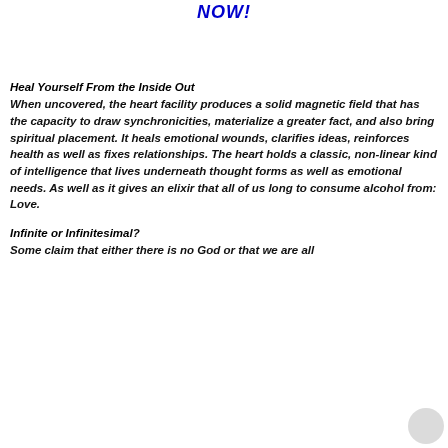NOW!
Heal Yourself From the Inside Out
When uncovered, the heart facility produces a solid magnetic field that has the capacity to draw synchronicities, materialize a greater fact, and also bring spiritual placement. It heals emotional wounds, clarifies ideas, reinforces health as well as fixes relationships. The heart holds a classic, non-linear kind of intelligence that lives underneath thought forms as well as emotional needs. As well as it gives an elixir that all of us long to consume alcohol from: Love.
Infinite or Infinitesimal?
Some claim that either there is no God or that we are all